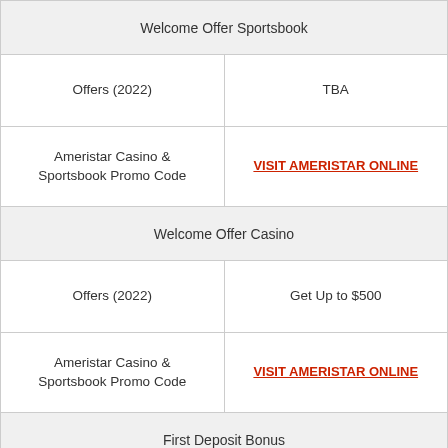| Welcome Offer Sportsbook |  |
| Offers (2022) | TBA |
| Ameristar Casino & Sportsbook Promo Code | VISIT AMERISTAR ONLINE |
| Welcome Offer Casino |  |
| Offers (2022) | Get Up to $500 |
| Ameristar Casino & Sportsbook Promo Code | VISIT AMERISTAR ONLINE |
| First Deposit Bonus |  |
| Offers (2022) | TBA |